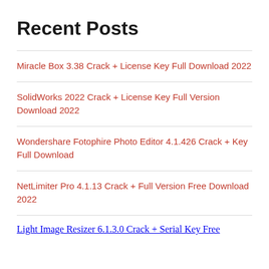Recent Posts
Miracle Box 3.38 Crack + License Key Full Download 2022
SolidWorks 2022 Crack + License Key Full Version Download 2022
Wondershare Fotophire Photo Editor 4.1.426 Crack + Key Full Download
NetLimiter Pro 4.1.13 Crack + Full Version Free Download 2022
Light Image Resizer 6.1.3.0 Crack + Serial Key Free